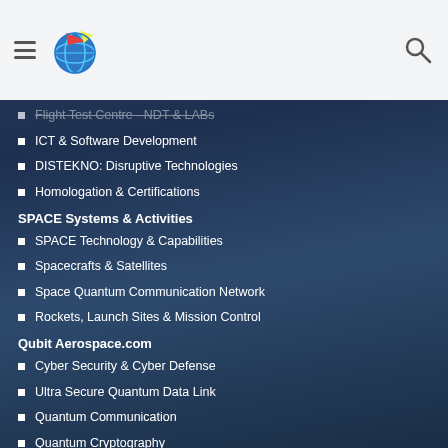[Figure (logo): Website header bar with hamburger menu icon, globe/aerospace logo, and search icon]
Flight Test Centre - NDT & LABs
ICT & Software Development
DISTEKNO: Disruptive Technologies
Homologation & Certifications
SPACE Systems & Activities
SPACE Technology & Capabilities
Spacecrafts & Satellites
Space Quantum Communication Network
Rockets, Launch Sites & Mission Control
Qubit Aerospace.com
Cyber Security & Cyber Defense
Ultra Secure Quantum Data Link
Quantum Communication
Quantum Cryptography
Quantum Sensing & RADAR
Quantum Global Aircraft Tracking